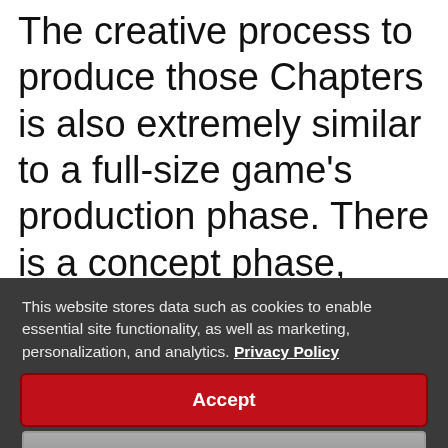The creative process to produce those Chapters is also extremely similar to a full-size game's production phase. There is a concept phase, where the team is pitching crazy ideas, then a prototype to verify that the idea is fun to play. This is followed by visual and narrative iterations to
This website stores data such as cookies to enable essential site functionality, as well as marketing, personalization, and analytics. Privacy Policy
Accept
Deny